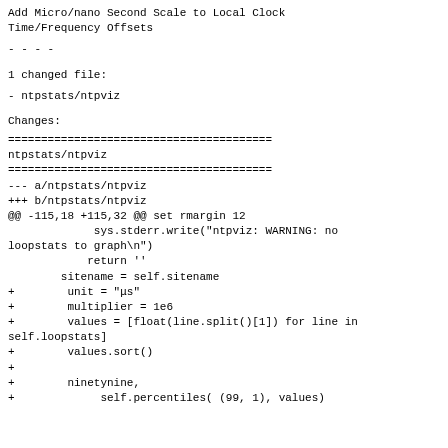Add Micro/nano Second Scale to Local Clock
Time/Frequency Offsets
- - - -
1 changed file:
- ntpstats/ntpviz
Changes:
========================================
ntpstats/ntpviz
========================================
--- a/ntpstats/ntpviz
+++ b/ntpstats/ntpviz
@@ -115,18 +115,32 @@ set rmargin 12
              sys.stderr.write("ntpviz: WARNING: no loopstats to graph\n")
             return ''
         sitename = self.sitename
+         unit = "μs"
+         multiplier = 1e6
+         values = [float(line.split()[1]) for line in self.loopstats]
+         values.sort()
+
+         ninetynine, one = \
+              self.percentiles( (99, 1), values)